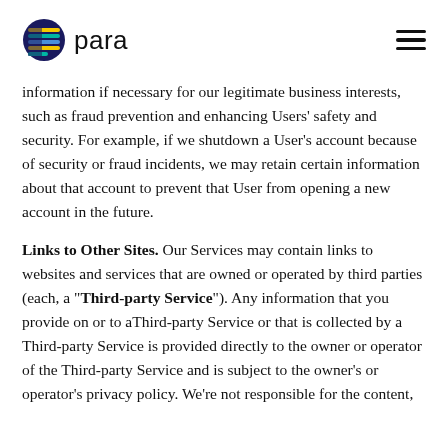para
information if necessary for our legitimate business interests, such as fraud prevention and enhancing Users' safety and security. For example, if we shutdown a User's account because of security or fraud incidents, we may retain certain information about that account to prevent that User from opening a new account in the future.
Links to Other Sites. Our Services may contain links to websites and services that are owned or operated by third parties (each, a “Third-party Service”). Any information that you provide on or to aThird-party Service or that is collected by a Third-party Service is provided directly to the owner or operator of the Third-party Service and is subject to the owner’s or operator’s privacy policy. We’re not responsible for the content,